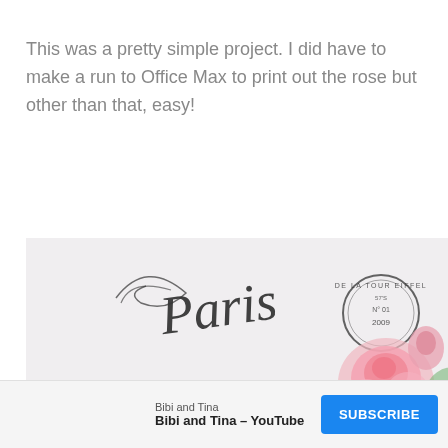This was a pretty simple project. I did have to make a run to Office Max to print out the rose but other than that, easy!
[Figure (illustration): A decorative French-style postcard image featuring cursive script text reading 'Paris' and 'Mme Boilève', a circular postmark stamp reading 'DE LA TOUR EIFFEL', and pink roses on a light background.]
Bibi and Tina — Bibi and Tina - YouTube — SUBSCRIBE